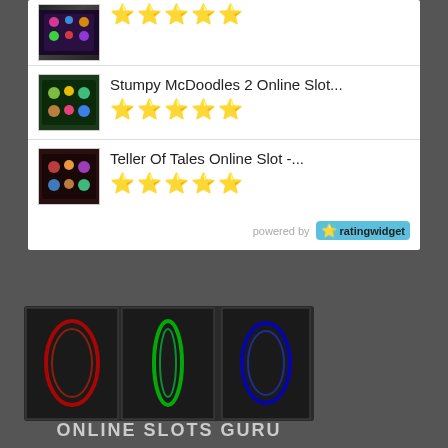[Figure (screenshot): Slot game thumbnail showing colorful slot machine with gems on dark purple background]
⭐⭐⭐⭐⭐
[Figure (screenshot): Stumpy McDoodles 2 slot game thumbnail showing green themed slot machine]
Stumpy McDoodles 2 Online Slot...
⭐⭐⭐⭐⭐
[Figure (screenshot): Teller Of Tales slot game thumbnail showing dark themed slot machine]
Teller Of Tales Online Slot -...
⭐⭐⭐⭐⭐
powered by ratingwidget
[Figure (logo): Online Slots Guru logo with three neon colored slot reels in red, green, and blue on dark background, with text ONLINE SLOTS GURU below]